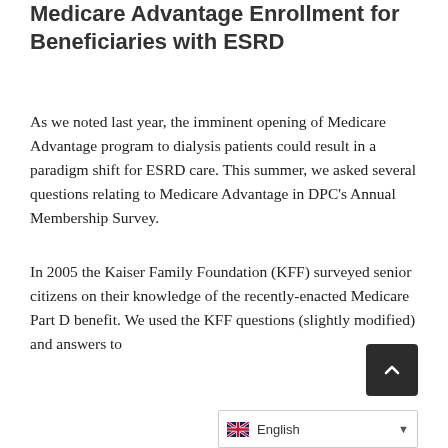Medicare Advantage Enrollment for Beneficiaries with ESRD
As we noted last year, the imminent opening of Medicare Advantage program to dialysis patients could result in a paradigm shift for ESRD care. This summer, we asked several questions relating to Medicare Advantage in DPC's Annual Membership Survey.
In 2005 the Kaiser Family Foundation (KFF) surveyed senior citizens on their knowledge of the recently-enacted Medicare Part D benefit. We used the KFF questions (slightly modified) and answers to